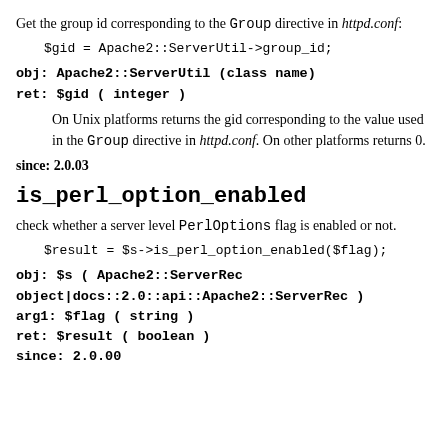Get the group id corresponding to the Group directive in httpd.conf:
obj: Apache2::ServerUtil (class name)
ret: $gid ( integer )
On Unix platforms returns the gid corresponding to the value used in the Group directive in httpd.conf. On other platforms returns 0.
since: 2.0.03
is_perl_option_enabled
check whether a server level PerlOptions flag is enabled or not.
obj: $s ( Apache2::ServerRec
object|docs::2.0::api::Apache2::ServerRec )
arg1: $flag ( string )
ret: $result ( boolean )
since: 2.0.00